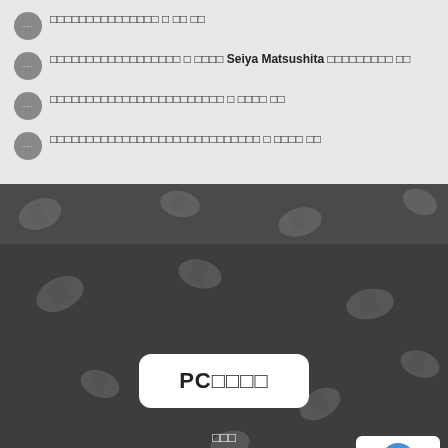□□□□□□□□□□□□□□□ □ □□ □□
□□□□□□□□□□□□□□□□□□ □ □□□□ Seiya Matsushita □□□□□□□□□ □□
□□□□□□□□□□□□□□□□□□□□□□□□ □ □□□□ □□
□□□□□□□□□□□□□□□□□□□□□□□□□□□□□ □ □□□□ □□
[Figure (illustration): Dark band with decorative sushi/food pattern watermark]
[Figure (illustration): Dark section with sushi pattern watermark, PC button, footer info, and reCAPTCHA badge]
PCサイト
会社名
〒150-0042 □□□□□□□□2-1 □□□□□□□B-15
TEL. 03-6455-0088